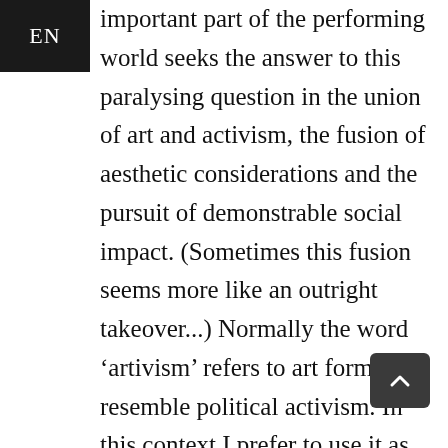important part of the performing world seeks the answer to this paralysing question in the union of art and activism, the fusion of aesthetic considerations and the pursuit of demonstrable social impact. (Sometimes this fusion seems more like an outright takeover...) Normally the word ‘artivism’ refers to art forms that resemble political activism. In this context I prefer to use it as an umbrella term for the high-minded rhetoric around the ‘political